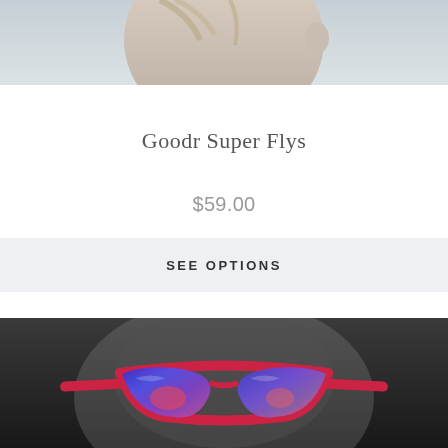[Figure (photo): Top portion of a product listing page showing partial face/head of a person from the side, cropped at the top]
Goodr Super Flys
$59.00
SEE OPTIONS
[Figure (photo): Black and white close-up photo of a person wearing pink/red framed sunglasses with blue mirrored lenses. A heart/wishlist icon appears in the top right corner of the image.]